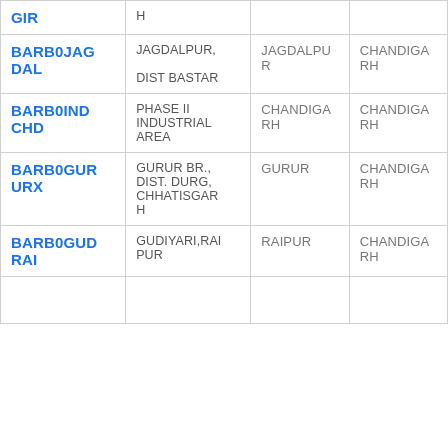| GIR | H |  |  |
| BARB0JAGDAL | JAGDALPUR, DIST BASTAR | JAGDALPUR | CHANDIGARH |
| BARB0INDCHD | PHASE II INDUSTRIAL AREA | CHANDIGARH | CHANDIGARH |
| BARB0GURURX | GURUR BR., DIST. DURG, CHHATISGAH | GURUR | CHANDIGARH |
| BARB0GUDRAI | GUDIYARI,RAIPUR | RAIPUR | CHANDIGARH |
|  |  |  |  |